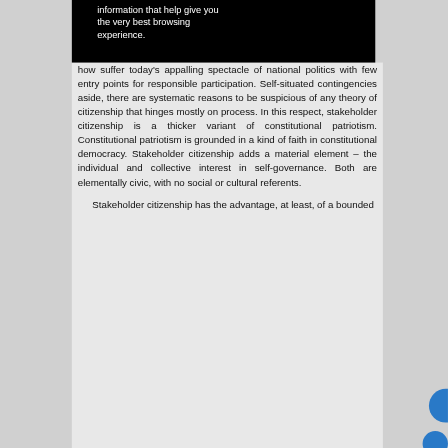information that help give you the very best browsing experience.
how suffer today's appalling spectacle of national politics with few entry points for responsible participation. Self-situated contingencies aside, there are systematic reasons to be suspicious of any theory of citizenship that hinges mostly on process. In this respect, stakeholder citizenship is a thicker variant of constitutional patriotism. Constitutional patriotism is grounded in a kind of faith in constitutional democracy. Stakeholder citizenship adds a material element – the individual and collective interest in self-governance. Both are elementally civic, with no social or cultural referents.
Stakeholder citizenship has the advantage, at least, of a bounded